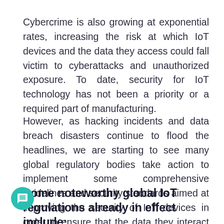Cybercrime is also growing at exponential rates, increasing the risk at which IoT devices and the data they access could fall victim to cyberattacks and unauthorized exposure. To date, security for IoT technology has not been a priority or a required part of manufacturing.
However, as hacking incidents and data breach disasters continue to flood the headlines, we are starting to see many global regulatory bodies take action to implement some comprehensive guidelines and security standards aimed at improving the security of IoT devices in order to ensure that the data they interact with is protected.
Some noteworthy global IoT regulations already in effect include: